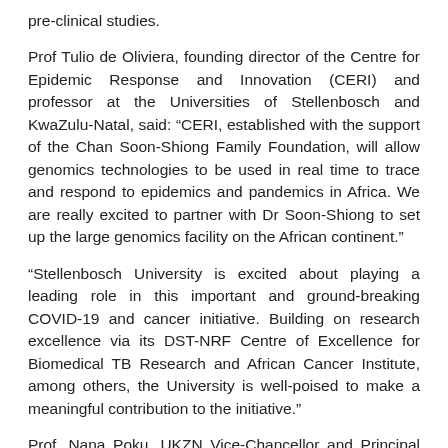pre-clinical studies.
Prof Tulio de Oliviera, founding director of the Centre for Epidemic Response and Innovation (CERI) and professor at the Universities of Stellenbosch and KwaZulu-Natal, said: “CERI, established with the support of the Chan Soon-Shiong Family Foundation, will allow genomics technologies to be used in real time to trace and respond to epidemics and pandemics in Africa. We are really excited to partner with Dr Soon-Shiong to set up the large genomics facility on the African continent.”
“Stellenbosch University is excited about playing a leading role in this important and ground-breaking COVID-19 and cancer initiative. Building on research excellence via its DST-NRF Centre of Excellence for Biomedical TB Research and African Cancer Institute, among others, the University is well-poised to make a meaningful contribution to the initiative.”
Prof. Nana Poku, UKZN Vice-Chancellor and Principal said: “We are proud to have established the scientific foundation of CERI, which builds on the strong work of KRISP at UKZN on COVID-19. The consolidation and expansion of this work in partnership with Stellenbosch University and the Chan Soon-Shiong Family